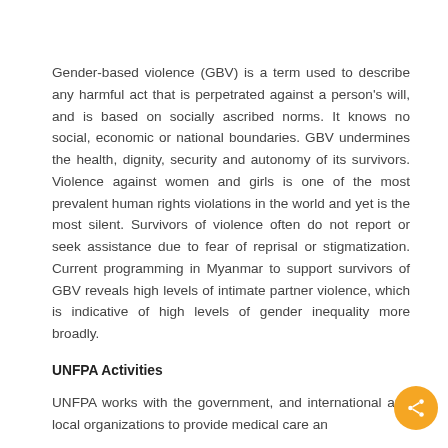Gender-based violence (GBV) is a term used to describe any harmful act that is perpetrated against a person's will, and is based on socially ascribed norms. It knows no social, economic or national boundaries. GBV undermines the health, dignity, security and autonomy of its survivors. Violence against women and girls is one of the most prevalent human rights violations in the world and yet is the most silent. Survivors of violence often do not report or seek assistance due to fear of reprisal or stigmatization. Current programming in Myanmar to support survivors of GBV reveals high levels of intimate partner violence, which is indicative of high levels of gender inequality more broadly.
UNFPA Activities
UNFPA works with the government, and international and local organizations to provide medical care and...